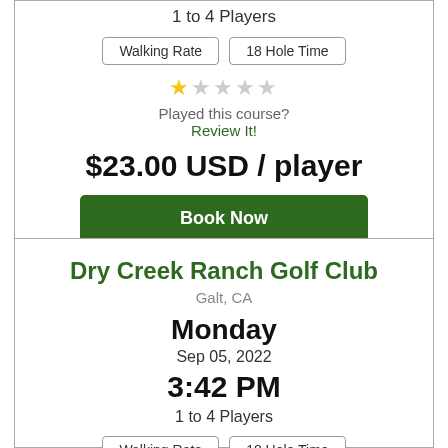1 to 4 Players
Walking Rate | 18 Hole Time
[Figure (other): Star rating: 1 out of 5 stars (one filled gold star, four empty gray stars)]
Played this course?
Review It!
$23.00 USD / player
Book Now
Dry Creek Ranch Golf Club
Galt, CA
Monday
Sep 05, 2022
3:42 PM
1 to 4 Players
Walking Rate | 18 Hole Time